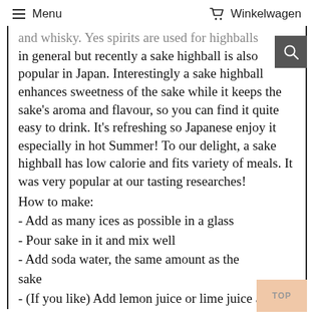Menu   Winkelwagen
and whisky. Yes spirits are used for highballs in general but recently a sake highball is also popular in Japan. Interestingly a sake highball enhances sweetness of the sake while it keeps the sake's aroma and flavour, so you can find it quite easy to drink. It's refreshing so Japanese enjoy it especially in hot Summer! To our delight, a sake highball has low calorie and fits variety of meals. It was very popular at our tasting researches!
How to make:
- Add as many ices as possible in a glass
- Pour sake in it and mix well
- Add soda water, the same amount as the sake
- (If you like) Add lemon juice or lime juice as